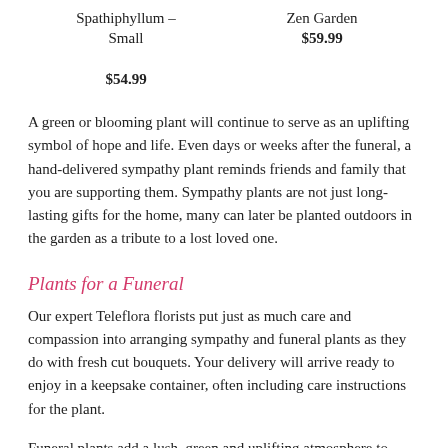Spathiphyllum – Small
$54.99
Zen Garden
$59.99
A green or blooming plant will continue to serve as an uplifting symbol of hope and life. Even days or weeks after the funeral, a hand-delivered sympathy plant reminds friends and family that you are supporting them. Sympathy plants are not just long-lasting gifts for the home, many can later be planted outdoors in the garden as a tribute to a lost loved one.
Plants for a Funeral
Our expert Teleflora florists put just as much care and compassion into arranging sympathy and funeral plants as they do with fresh cut bouquets. Your delivery will arrive ready to enjoy in a keepsake container, often including care instructions for the plant.
Funeral plants add a lush, green and uplifting atmosphere to